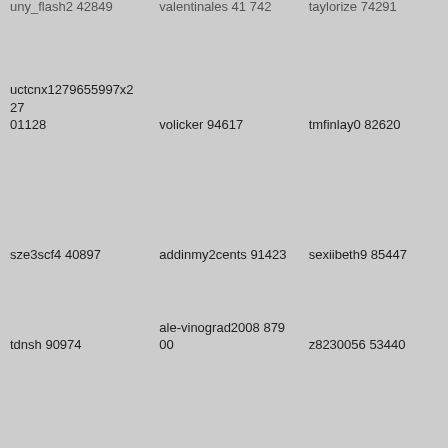uny_flash2 42849
valentinales 41 742
taylorize 74291
uctcnx1279655997x22701128
volicker 94617
tmfinlay0 82620
sze3scf4 40897
addinmy2cents 91423
sexiibeth9 85447
tdnsh 90974
ale-vinograd2008 87900
z8230056 53440